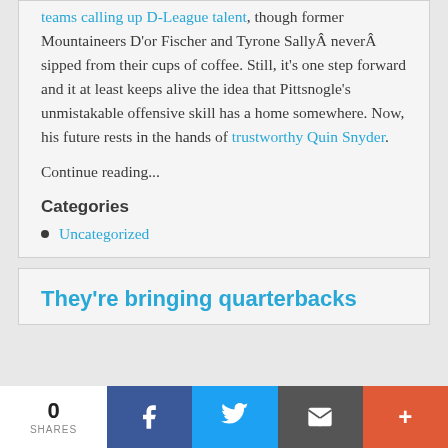teams calling up D-League talent, though former Mountaineers D'or Fischer and Tyrone Sallý neverÂ sipped from their cups of coffee. Still, it's one step forward and it at least keeps alive the idea that Pittsnogle's unmistakable offensive skill has a home somewhere. Now, his future rests in the hands of trustworthy Quin Snyder.
Continue reading...
Categories
Uncategorized
They're bringing quarterbacks
0 SHARES